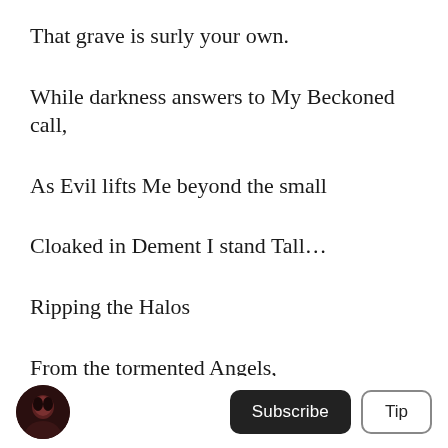That grave is surly your own.
While darkness answers to My Beckoned call,
As Evil lifts Me beyond the small
Cloaked in Dement I stand Tall…
Ripping the Halos
From the tormented Angels,
Cleansing your Visions of what's Untold